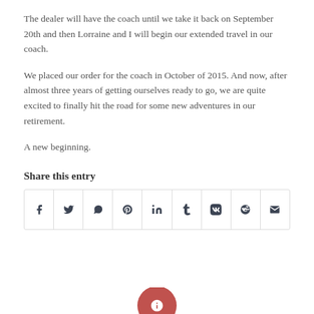The dealer will have the coach until we take it back on September 20th and then Lorraine and I will begin our extended travel in our coach.
We placed our order for the coach in October of 2015. And now, after almost three years of getting ourselves ready to go, we are quite excited to finally hit the road for some new adventures in our retirement.
A new beginning.
Share this entry
[Figure (infographic): Social share bar with icons for Facebook, Twitter, WhatsApp, Pinterest, LinkedIn, Tumblr, VK, Reddit, and Email]